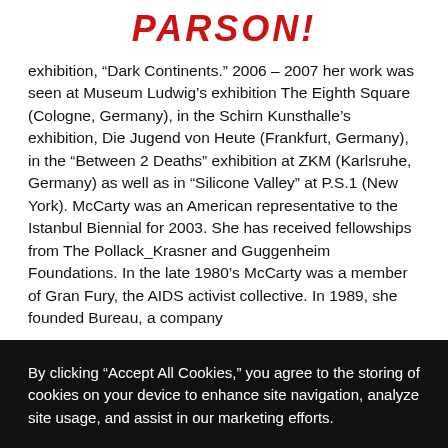PARSON!
exhibition, “Dark Continents.” 2006 – 2007 her work was seen at Museum Ludwig’s exhibition The Eighth Square (Cologne, Germany), in the Schirn Kunsthalle’s exhibition, Die Jugend von Heute (Frankfurt, Germany), in the “Between 2 Deaths” exhibition at ZKM (Karlsruhe, Germany) as well as in “Silicone Valley” at P.S.1 (New York). McCarty was an American representative to the Istanbul Biennial for 2003. She has received fellowships from The Pollack_Krasner and Guggenheim Foundations. In the late 1980’s McCarty was a member of Gran Fury, the AIDS activist collective. In 1989, she founded Bureau, a company
By clicking “Accept All Cookies,” you agree to the storing of cookies on your device to enhance site navigation, analyze site usage, and assist in our marketing efforts.
Cookie Statement
Customize Settings
Accept All Cookies